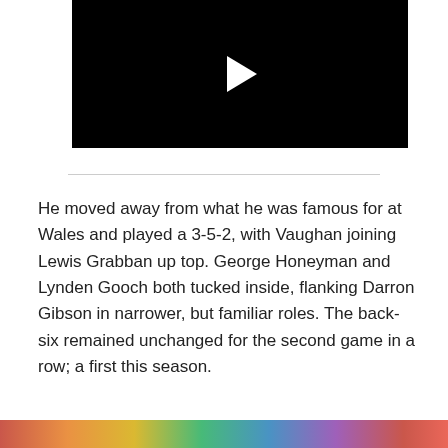[Figure (screenshot): Black video player with white play button triangle in the center]
He moved away from what he was famous for at Wales and played a 3-5-2, with Vaughan joining Lewis Grabban up top. George Honeyman and Lynden Gooch both tucked inside, flanking Darron Gibson in narrower, but familiar roles. The back-six remained unchanged for the second game in a row; a first this season.
[Figure (photo): Partial colorful image visible at the bottom of the page]